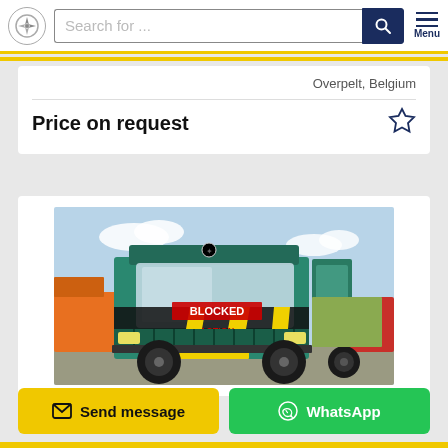Search for ...
Overpelt, Belgium
Price on request
[Figure (photo): A teal/green Mercedes truck with 'BLOCKED' and other text overlaid on the front, photographed in a vehicle yard with other trucks visible in the background.]
Send message
WhatsApp